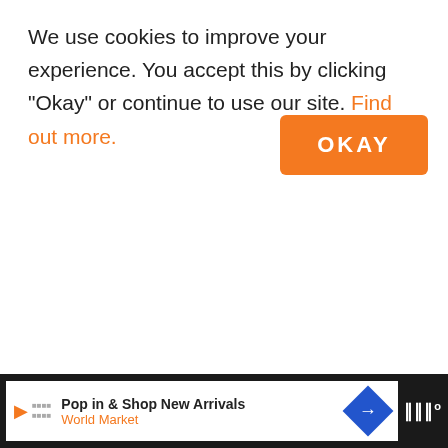We use cookies to improve your experience. You accept this by clicking "Okay" or continue to use our site. Find out more.
[Figure (other): Orange OKAY button]
REPLY
[Figure (other): Facebook share button (blue sidebar)]
[Figure (other): Pinterest share button (red sidebar)]
393
[Figure (other): Heart/like button circle]
[Figure (other): Search button orange circle]
Katerina
May 31, 2016 at 7:14 pm
Great recipe. Few and healthy ingredients,
[Figure (other): Advertisement banner: Pop in & Shop New Arrivals World Market]